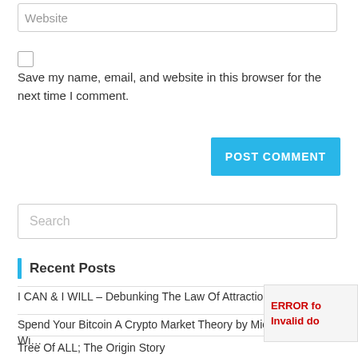Website
Save my name, email, and website in this browser for the next time I comment.
POST COMMENT
Search
Recent Posts
I CAN & I WILL – Debunking The Law Of Attraction – part one
Spend Your Bitcoin A Crypto Market Theory by Michaelson Wi…
Tree Of ALL; The Origin Story